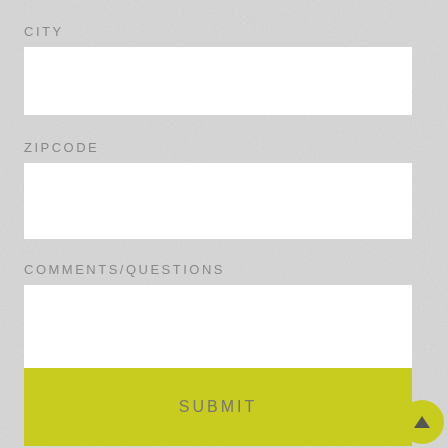CITY
[Figure (other): Empty white text input field for CITY]
ZIPCODE
[Figure (other): Empty white text input field for ZIPCODE]
COMMENTS/QUESTIONS
[Figure (other): Empty white textarea for COMMENTS/QUESTIONS]
SUBMIT
[Figure (other): Back to top circular button with upward arrow]